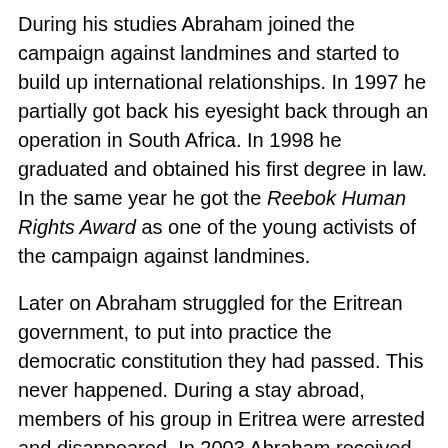During his studies Abraham joined the campaign against landmines and started to build up international relationships. In 1997 he partially got back his eyesight back through an operation in South Africa. In 1998 he graduated and obtained his first degree in law. In the same year he got the Reebok Human Rights Award as one of the young activists of the campaign against landmines.
Later on Abraham struggled for the Eritrean government, to put into practice the democratic constitution they had passed. This never happened. During a stay abroad, members of his group in Eritrea were arrested and disappeared. In 2003 Abraham received asylum in Germany.
We met Abraham for the first time in 2003 when we prepared and published a documentation, including interviews and background articles, about the situation of conscientious objectors and deserters in Eritrea. For this project he searched for contacts, made some translations,